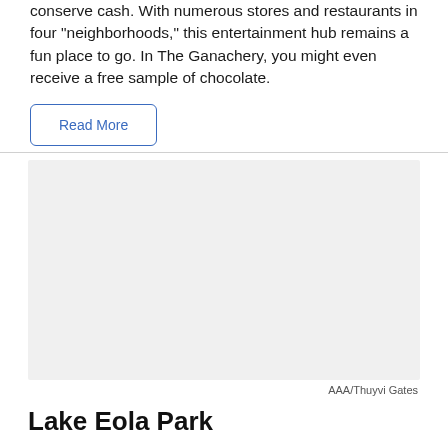conserve cash. With numerous stores and restaurants in four "neighborhoods," this entertainment hub remains a fun place to go. In The Ganachery, you might even receive a free sample of chocolate.
[Figure (photo): A large light gray placeholder image representing a photo of Lake Eola Park or related location, credited to AAA/Thuyvi Gates.]
AAA/Thuyvi Gates
Lake Eola Park